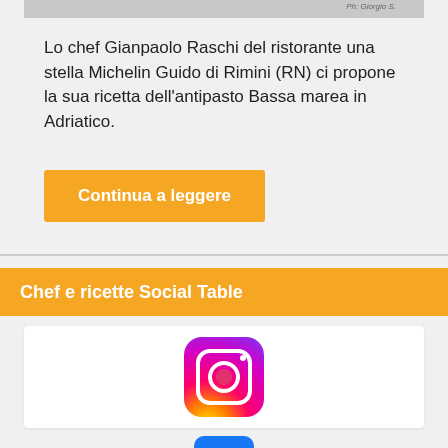[Figure (photo): Top portion of a food photograph, cropped at the top of the visible area. Photo credit: Giorgio S.]
Lo chef Gianpaolo Raschi del ristorante una stella Michelin Guido di Rimini (RN) ci propone la sua ricetta dell'antipasto Bassa marea in Adriatico.
Continua a leggere
Chef e ricette Social Table
[Figure (logo): Instagram app logo/icon with gradient background (purple to orange-red) and white camera outline]
[Figure (logo): Facebook logo icon with blue background and white 'f' letter, partially visible]